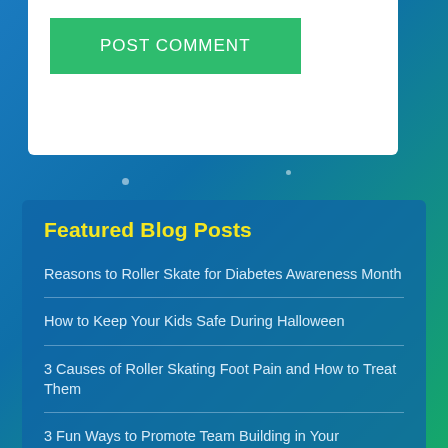POST COMMENT
Featured Blog Posts
Reasons to Roller Skate for Diabetes Awareness Month
How to Keep Your Kids Safe During Halloween
3 Causes of Roller Skating Foot Pain and How to Treat Them
3 Fun Ways to Promote Team Building in Your Workplace